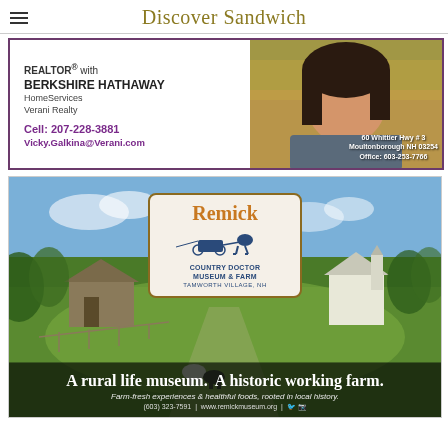Discover Sandwich
[Figure (photo): Advertisement for Vicky Galkina, REALTOR with Berkshire Hathaway HomeServices Verani Realty. Shows contact info: Cell 207-228-3881, Vicky.Galkina@Verani.com, 60 Whittier Hwy #3, Moultonborough NH 03254, Office: 603-253-7766. Photo of a woman on right side.]
[Figure (photo): Advertisement for Remick Country Doctor Museum & Farm in Tamworth Village, NH. Landscape photo of a farm with green fields, barns, and cows. Logo badge in center. Text: A rural life museum. A historic working farm. Farm-fresh experiences & healthful foods, rooted in local history. (603) 323-7591 | www.remickmuseum.org]